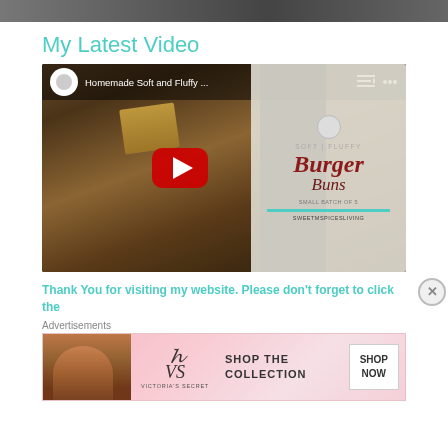[Figure (photo): Top cropped photo of food/burger scene]
My Latest Video
[Figure (screenshot): YouTube video embed thumbnail showing homemade soft and fluffy burger buns with play button overlay. Title bar reads 'Homemade Soft and Fluffy ...' with YouTube controls. Right side overlay shows 'SOFT | FLUFFY Burger Buns SMALL BATCH OF 5 SWEETMSPICESLIVING' branding.]
Thank You for visiting my website. Please don't forget to click the
Advertisements
[Figure (photo): Victoria's Secret advertisement banner with model, VS logo, 'SHOP THE COLLECTION' text and 'SHOP NOW' button]